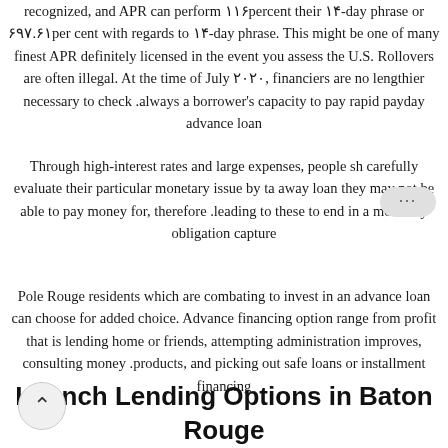recognized, and APR can perform ۱۱۶percent their ۱۴-day phrase or ۶۹۷.۶۱per cent with regards to ۱۴-day phrase. This might be one of many finest APR definitely licensed in the event you assess the U.S. Rollovers are often illegal. At the time of July ۲۰۲۰, financiers are no lengthier necessary to check always a borrower's capacity to pay rapid payday advance loan.
Through high-interest rates and large expenses, people should carefully evaluate their particular monetary issue by taking away loan they may not be able to pay money for, therefore leading to these to end in a monetary obligation capture.
Pole Rouge residents which are combating to invest in an advance loan can choose for added choice. Advance financing option range from profit that is lending home or friends, attempting administration improves, consulting money products, and picking out safe loans or installment financing.
Launch Lending Options in Baton Rouge